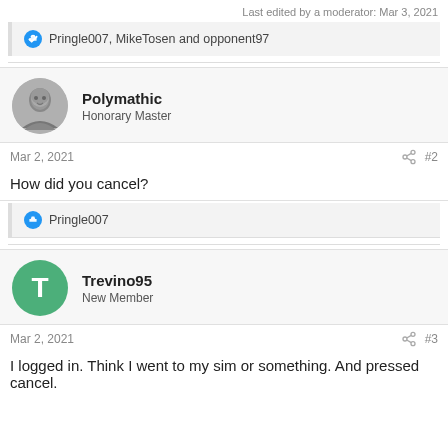Last edited by a moderator: Mar 3, 2021
Pringle007, MikeTosen and opponent97
[Figure (other): User avatar photo of Polymathic (grayscale face photo)]
Polymathic
Honorary Master
Mar 2, 2021    #2
How did you cancel?
Pringle007
[Figure (other): User avatar of Trevino95 - green circle with letter T]
Trevino95
New Member
Mar 2, 2021    #3
I logged in. Think I went to my sim or something. And pressed cancel.